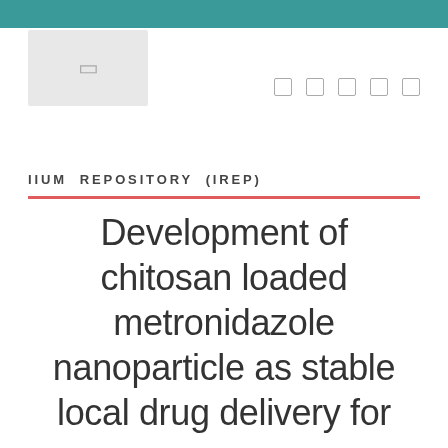[Figure (logo): IIUM Repository logo placeholder box with icon]
[Figure (other): Social media icons row (5 icons)]
IIUM REPOSITORY (IREP)
Development of chitosan loaded metronidazole nanoparticle as stable local drug delivery for